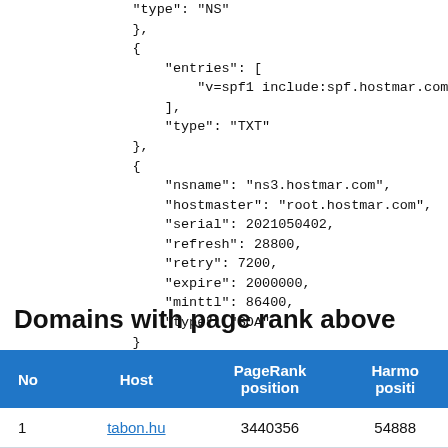"type": "NS"
    },
    {
        "entries": [
            "v=spf1 include:spf.hostmar.com -all"
        ],
        "type": "TXT"
    },
    {
        "nsname": "ns3.hostmar.com",
        "hostmaster": "root.hostmar.com",
        "serial": 2021050402,
        "refresh": 28800,
        "retry": 7200,
        "expire": 2000000,
        "minttl": 86400,
        "type": "SOA"
    }
]
Domains with page rank above
| No | Host | PageRank position | Harmo position |
| --- | --- | --- | --- |
| 1 | tabon.hu | 3440356 | 548884 |